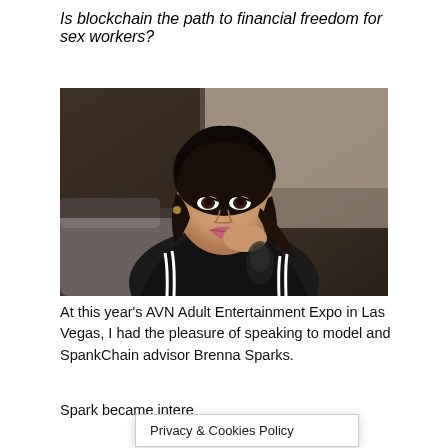Is blockchain the path to financial freedom for sex workers?
[Figure (photo): Portrait photo of a young woman with long dark hair wearing a black jacket with white stripes, resting her chin on her hand, smiling at the camera in a dimly lit room.]
At this year's AVN Adult Entertainment Expo in Las Vegas, I had the pleasure of speaking to model and SpankChain advisor Brenna Sparks.
Spark became intere after
Privacy & Cookies Policy